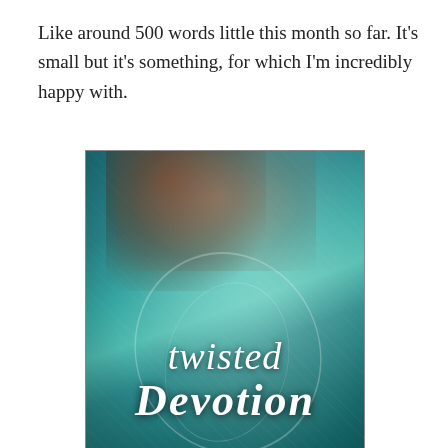Like around 500 words little this month so far. It's small but it's something, for which I'm incredibly happy with.
[Figure (photo): Book cover of 'Twisted Devotion' by Jessi Elliott. Features a woman's face partially visible with teal/cyan mystical swirling background and ornate lettering.]
As well, I've got a couple reviews coming up. One will be up on Wednesday for a book that's coming out tomorrow, Tuesday April 21st. I was lucky enough to receive an arc copy of Twisted Devotion by Jessi Elliott – who is doing a Release Day Party on her Youtube channel Tuesday, so be sure to check it out her party. And then come back here